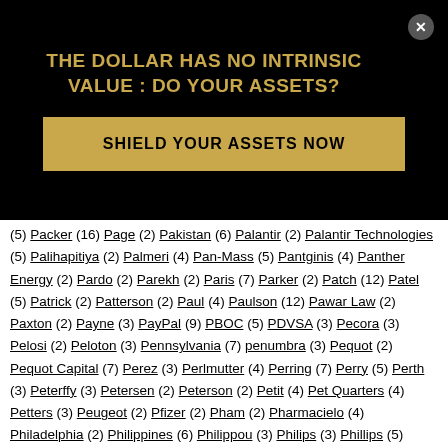THE DOLLAR HAS NO INTRINSIC VALUE : DO YOUR ASSETS?
SHIELD YOUR ASSETS NOW
(5) Packer (16) Page (2) Pakistan (6) Palantir (2) Palantir Technologies (5) Palihapitiya (2) Palmeri (4) Pan-Mass (5) Pantginis (4) Panther Energy (2) Pardo (2) Parekh (2) Paris (7) Parker (2) Patch (12) Patel (5) Patrick (2) Patterson (2) Paul (4) Paulson (12) Pawar Law (2) Paxton (2) Payne (3) PayPal (9) PBOC (5) PDVSA (3) Pecora (3) Pelosi (2) Peloton (3) Pennsylvania (7) penumbra (3) Pequot (2) Pequot Capital (7) Perez (3) Perlmutter (4) Perring (7) Perry (5) Perth (3) Peterffy (3) Petersen (2) Peterson (2) Petit (4) Pet Quarters (4) Petters (3) Peugeot (2) Pfizer (2) Pham (2) Pharmacielo (4) Philadelphia (2) Philippines (6) Philippou (3) Philips (3) Phillips (5) Phleger & Harrison (2) Phoenix (2) Picker (2) Pickett (2) Pierce (4) Pillow (2) PIMCO (4) PIMFA (2) Pinto (4) PIPE (6) Pisani (8) Pitt (7) Pittman (4) Pittsburgh (4) PlacementTracker (2) Platts (3) Plotkin (8) Point72 (12) Poland (3) Pollack (4) Polny